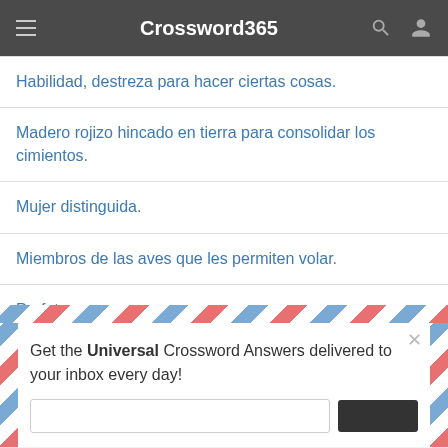Crossword365
Habilidad, destreza para hacer ciertas cosas.
Madero rojizo hincado en tierra para consolidar los cimientos.
Mujer distinguida.
Miembros de las aves que les permiten volar.
Profeta moro.
Get the Universal Crossword Answers delivered to your inbox every day!